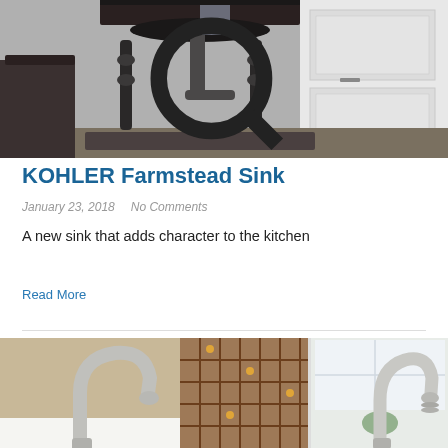[Figure (photo): KOHLER Farmstead sink in a kitchen setting, showing a dark exposed sink with ornate legs, viewed from below, with white cabinetry in background]
KOHLER Farmstead Sink
January 23, 2018   No Comments
A new sink that adds character to the kitchen
Read More
[Figure (photo): Two kitchen faucets side by side - left faucet in a warm kitchen with wine rack background, right faucet against white window background, both are pull-down style in brushed nickel/chrome finish]